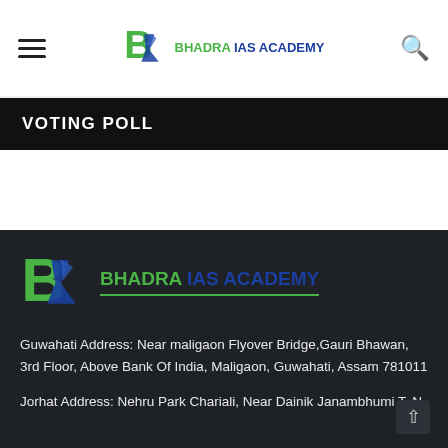Bhadra IAS Academy - header with hamburger menu, logo, and search icon
VOTING POLL
[Figure (logo): Bhadra IAS Academy logo in footer - large green B with blue pen icon and text BHADRA IAS ACADEMY]
Guwahati Address: Near maligaon Flyover Bridge,Gauri Bhawan, 3rd Floor, Above Bank Of India, Maligaon, Guwahati, Assam 781011
Jorhat Address: Nehru Park Chariali, Near Dainik Janambhumi T. N.